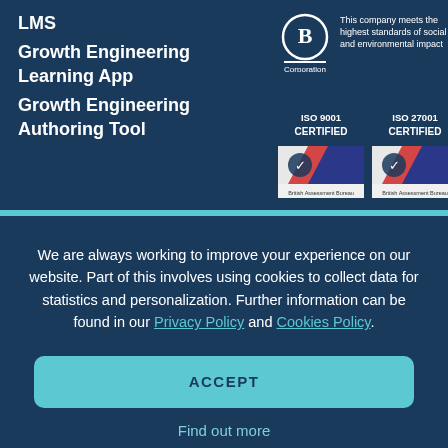LMS
Growth Engineering Learning App
Growth Engineering Authoring Tool
[Figure (logo): B Corporation logo with text: This company meets the highest standards of social and environmental impact]
[Figure (logo): ISO 9001 CERTIFIED badge from British Assessment Bureau]
[Figure (logo): ISO 27001 CERTIFIED badge from British Assessment Bureau]
We are always working to improve your experience on our website. Part of this involves using cookies to collect data for statistics and personalization. Further information can be found in our Privacy Policy and Cookies Policy.
ACCEPT
Find out more